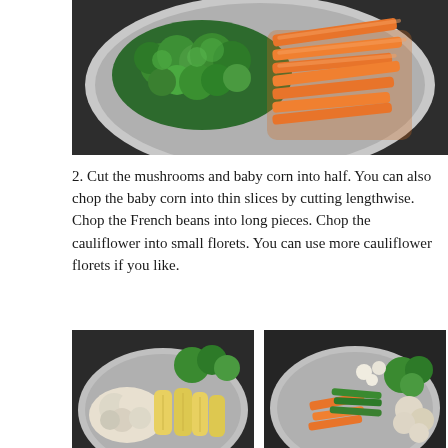[Figure (photo): Top-down view of a silver bowl or plate containing broccoli florets and julienned carrots on a dark surface]
2. Cut the mushrooms and baby corn into half. You can also chop the baby corn into thin slices by cutting lengthwise. Chop the French beans into long pieces. Chop the cauliflower into small florets. You can use more cauliflower florets if you like.
[Figure (photo): Silver bowl containing mushrooms, baby corn, and other vegetables including broccoli]
[Figure (photo): Silver bowl containing julienned carrots, green beans, broccoli, and mushrooms]
3. Marinate all the vegetables separately with rock salt, garlic powder, oregano and black pepper powder. You can marinate the vegetables altogether. But I have mixed the seasoning separately with all the vegetables because some of my family members don't